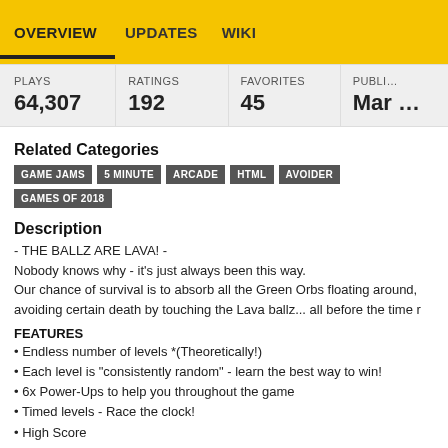OVERVIEW   UPDATES   WIKI
| PLAYS | RATINGS | FAVORITES | PUBLI... |
| --- | --- | --- | --- |
| 64,307 | 192 | 45 | Mar ... |
Related Categories
GAME JAMS   5 MINUTE   ARCADE   HTML   AVOIDER   GAMES OF 2018
Description
- THE BALLZ ARE LAVA! -
Nobody knows why - it's just always been this way.
Our chance of survival is to absorb all the Green Orbs floating around, avoiding certain death by touching the Lava ballz... all before the time r
FEATURES
• Endless number of levels *(Theoretically!)
• Each level is "consistently random" - learn the best way to win!
• 6x Power-Ups to help you throughout the game
• Timed levels - Race the clock!
• High Score
• Familiar-sounding thumping music... *cough*
(Keep an eye out for a Full "HD" release of this game later this year!)